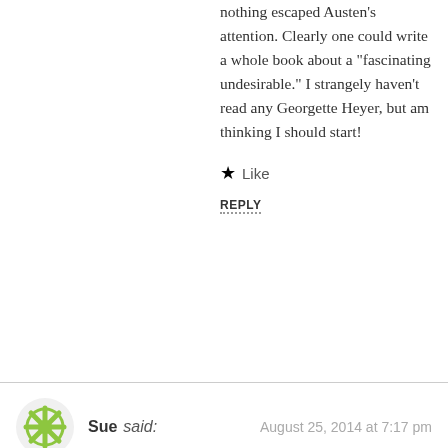nothing escaped Austen's attention. Clearly one could write a whole book about a "fascinating undesirable." I strangely haven't read any Georgette Heyer, but am thinking I should start!
Like
REPLY
Sue said: August 25, 2014 at 7:17 pm
As a friend of mine pointed out, Mrs. Norris is also jealous of Mrs. Price. Mrs. Norris never had any children when she could afford them. Mrs. Price kept having children she couldn't afford. I suspect that's also at the root of her treatment of Fannie.
The first chapter ( I'm paraphrasing ) says that without any easy means of knowing Mrs. Price's activities and circumstances, Mrs. Norris periodically would be able to announce that her sister had had another child. That required considerable effort.